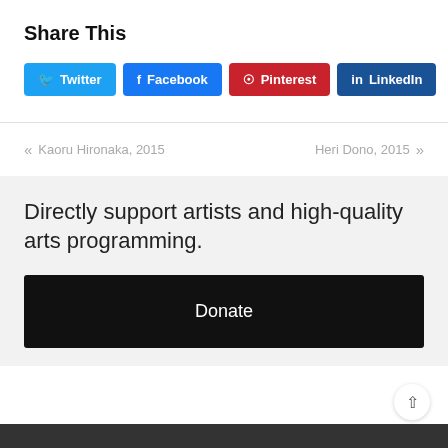Share This
[Figure (infographic): Social sharing buttons: Twitter (blue), Facebook (blue), Pinterest (red), LinkedIn (dark blue)]
« Kaoru Hironaka, 2015
Heri Dono, 2015 »
Directly support artists and high-quality arts programming.
Donate